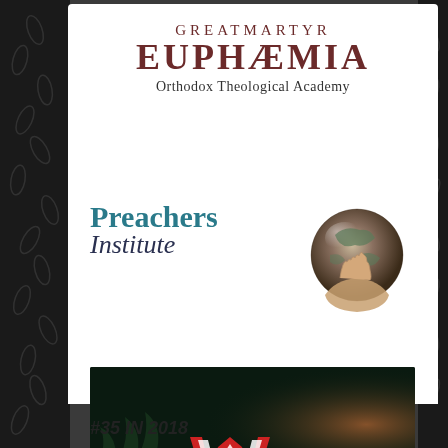GREATMARTYR EUPHEMIA Orthodox Theological Academy
[Figure (logo): Preachers Institute logo with teal text and globe graphic]
[Figure (infographic): Dark banner reading 'YOUR JOURNEY TO ORTHODOXY BEGINS HERE' in yellow and white text]
#35 IN 2018
[Figure (logo): Red and white W logo at bottom]